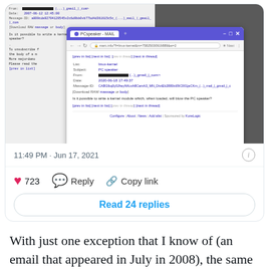[Figure (screenshot): Screenshot of a tweet containing a browser window showing a linux-kernel mailing list message. Subject: PC speaker. Question: Is it possible to write a kernel module which, when loaded, will blow the PC speaker?]
11:49 PM · Jun 17, 2021
723  Reply  Copy link
Read 24 replies
With just one exception that I know of (an email that appeared in July in 2008), the same person has